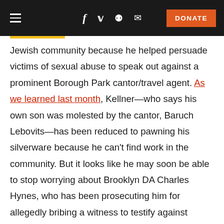≡ f 🐦 👽 ✉ DONATE
Jewish community because he helped persuade victims of sexual abuse to speak out against a prominent Borough Park cantor/travel agent. As we learned last month, Kellner—who says his own son was molested by the cantor, Baruch Lebovits—has been reduced to pawning his silverware because he can't find work in the community. But it looks like he may soon be able to stop worrying about Brooklyn DA Charles Hynes, who has been prosecuting him for allegedly bribing a witness to testify against Lebovits.